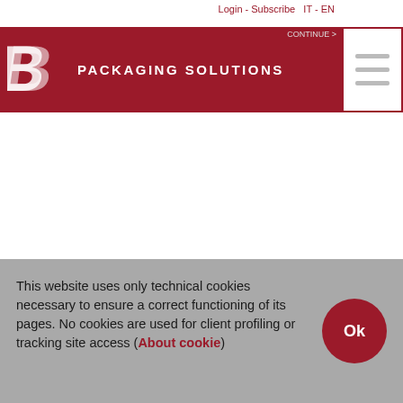Login - Subscribe  IT - EN
[Figure (logo): CB Packaging Solutions logo — white B letter mark on dark red background with text PACKAGING SOLUTIONS]
[Figure (other): Hamburger menu icon with three horizontal grey lines inside a red-bordered box]
This website uses only technical cookies necessary to ensure a correct functioning of its pages. No cookies are used for client profiling or tracking site access (About cookie)
[Figure (other): Ok button — dark red rounded pill button with white text Ok]